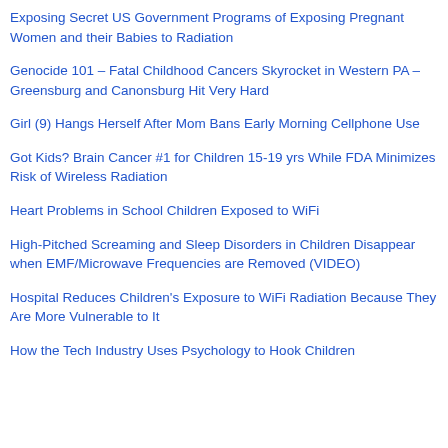Exposing Secret US Government Programs of Exposing Pregnant Women and their Babies to Radiation
Genocide 101 – Fatal Childhood Cancers Skyrocket in Western PA – Greensburg and Canonsburg Hit Very Hard
Girl (9) Hangs Herself After Mom Bans Early Morning Cellphone Use
Got Kids? Brain Cancer #1 for Children 15-19 yrs While FDA Minimizes Risk of Wireless Radiation
Heart Problems in School Children Exposed to WiFi
High-Pitched Screaming and Sleep Disorders in Children Disappear when EMF/Microwave Frequencies are Removed (VIDEO)
Hospital Reduces Children's Exposure to WiFi Radiation Because They Are More Vulnerable to It
How the Tech Industry Uses Psychology to Hook Children